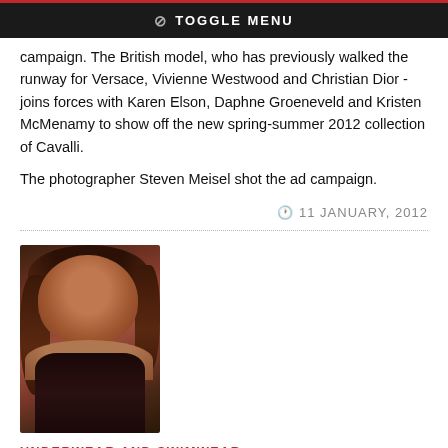TOGGLE MENU
campaign. The British model, who has previously walked the runway for Versace, Vivienne Westwood and Christian Dior - joins forces with Karen Elson, Daphne Groeneveld and Kristen McMenamy to show off the new spring-summer 2012 collection of Cavalli.

The photographer Steven Meisel shot the ad campaign.
11 JANUARY, 2012
[Figure (photo): Portrait photo of a woman with long wavy brown hair, looking down, wearing a dark outfit]
UNDERWEAR AND SWIMWEAR
Irina Shayk with photosession in